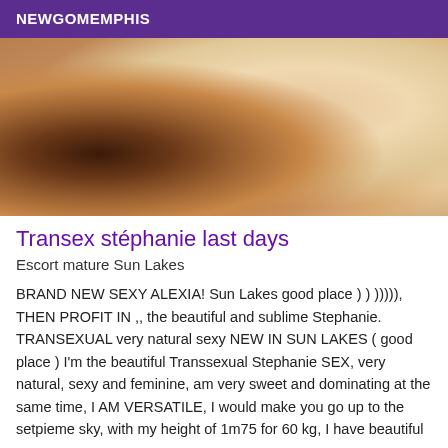NEWGOMEMPHIS
[Figure (photo): Close-up photograph with skin tones, warm brown and tan colors]
Transex stéphanie last days
Escort mature Sun Lakes
BRAND NEW SEXY ALEXIA! Sun Lakes good place ) ) ))))), THEN PROFIT IN ,, the beautiful and sublime Stephanie. TRANSEXUAL very natural sexy NEW IN SUN LAKES ( good place ) I'm the beautiful Transsexual Stephanie SEX, very natural, sexy and feminine, am very sweet and dominating at the same time, I AM VERSATILE, I would make you go up to the setpieme sky, with my height of 1m75 for 60 kg, I have beautiful